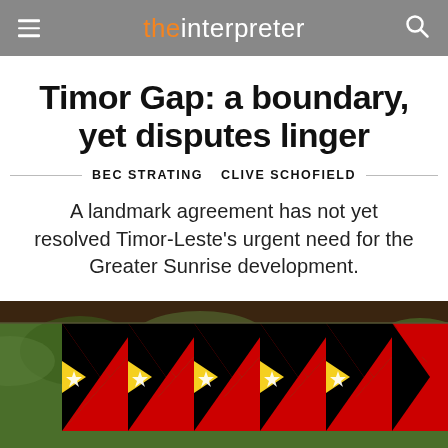the interpreter
Timor Gap: a boundary, yet disputes linger
BEC STRATING  CLIVE SCHOFIELD
A landmark agreement has not yet resolved Timor-Leste’s urgent need for the Greater Sunrise development.
[Figure (photo): Rows of Timor-Leste flags hanging outdoors with red, black, yellow and white star design, in front of green foliage background.]